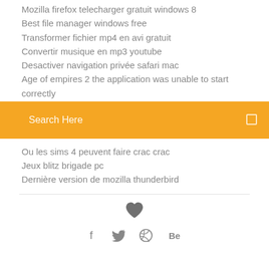Mozilla firefox telecharger gratuit windows 8
Best file manager windows free
Transformer fichier mp4 en avi gratuit
Convertir musique en mp3 youtube
Desactiver navigation privée safari mac
Age of empires 2 the application was unable to start correctly
[Figure (screenshot): Orange search bar with placeholder text 'Search Here' and a search icon on the right]
Ou les sims 4 peuvent faire crac crac
Jeux blitz brigade pc
Dernière version de mozilla thunderbird
[Figure (infographic): Heart icon followed by social media icons: Facebook, Twitter, Dribbble, Behance]